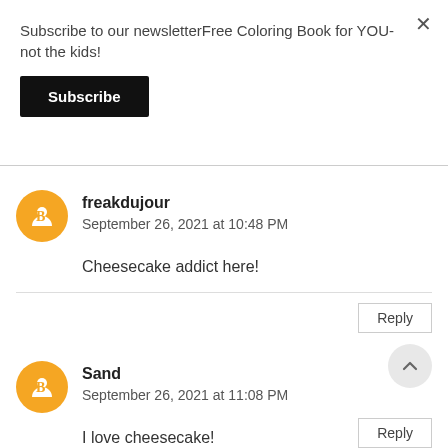Subscribe to our newsletterFree Coloring Book for YOU- not the kids!
Subscribe
×
freakdujour
September 26, 2021 at 10:48 PM
Cheesecake addict here!
Reply
Sand
September 26, 2021 at 11:08 PM
I love cheesecake!
Reply